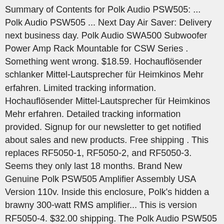Summary of Contents for Polk Audio PSW505: ... Polk Audio PSW505 ... Next Day Air Saver: Delivery next business day. Polk Audio SWA500 Subwoofer Power Amp Rack Mountable for CSW Series . Something went wrong. $18.59. Hochauflösender schlanker Mittel-Lautsprecher für Heimkinos Mehr erfahren. Limited tracking information. Hochauflösender Mittel-Lautsprecher für Heimkinos Mehr erfahren. Detailed tracking information provided. Signup for our newsletter to get notified about sales and new products. Free shipping . This replaces RF5050-1, RF5050-2, and RF5050-3. Seems they only last 18 months. Brand New Genuine Polk PSW505 Amplifier Assembly USA Version 110v. Inside this enclosure, Polk's hidden a brawny 300-watt RMS amplifier... This is version RF5050-4. $32.00 shipping. The Polk Audio PSW505 is a vintage subwoofer that carries a classic aesthetic appeal alongside its impressive list of features. SKU: RF5050-4 Categories: Electronic Parts, K - Q Tags: Polk PSW505 Amplifier Assembly, rf5051-2 Brand: Polk audio. PSW505 Polk Replacement Parts. S20e. PSW505 Amp Repair. USPS Priority